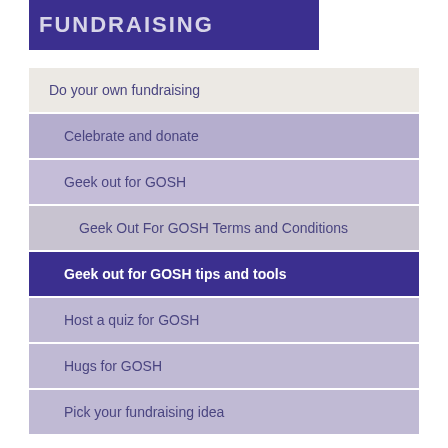[Figure (other): Dark purple banner with white bold text partially visible at top]
Do your own fundraising
Celebrate and donate
Geek out for GOSH
Geek Out For GOSH Terms and Conditions
Geek out for GOSH tips and tools
Host a quiz for GOSH
Hugs for GOSH
Pick your fundraising idea